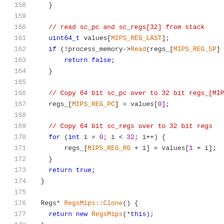[Figure (screenshot): Source code listing in C++ showing lines 158-178 of a MIPS register handling file. Code includes reading sc_pc and sc_regs from stack, copying 64-bit values to 32-bit registers, and a Clone() method returning a new RegsMips object.]